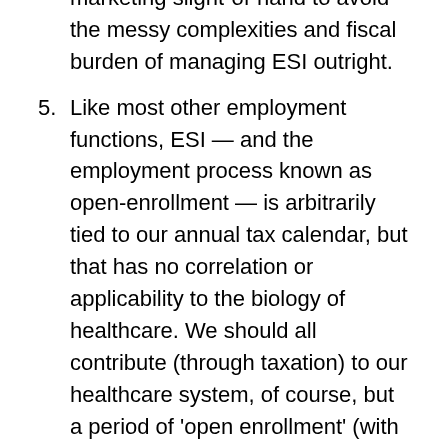marketing slight-of-hand to avoid the messy complexities and fiscal burden of managing ESI outright.
5. Like most other employment functions, ESI — and the employment process known as open-enrollment — is arbitrarily tied to our annual tax calendar, but that has no correlation or applicability to the biology of healthcare. We should all contribute (through taxation) to our healthcare system, of course, but a period of 'open enrollment' (with a very specific number of days) serves no clinical or moral purpose (other than to continually update pricing or monitor for pre-existing conditions and possible coverage denial).
6. While big commercial titans capture all the headlines for many industry innovations